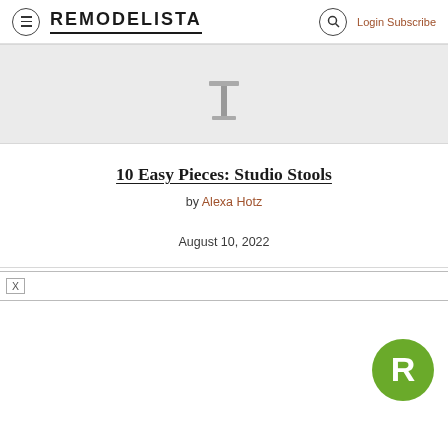≡ REMODELISTA 🔍 Login Subscribe
[Figure (photo): Partial image of a studio stool on light grey background]
10 Easy Pieces: Studio Stools
by Alexa Hotz
August 10, 2022
[Figure (other): Advertisement bar with X close button]
[Figure (logo): Remodelista green circular badge with white R letter]